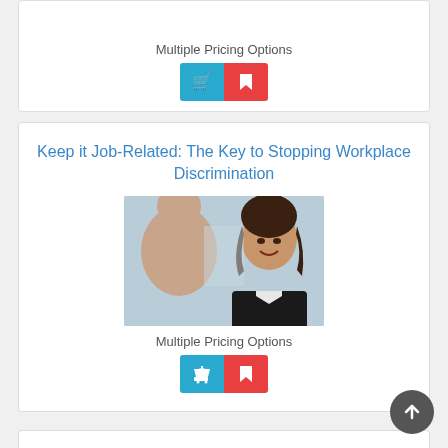Multiple Pricing Options
[Figure (illustration): Blue cart button and red bookmark button (add to cart / save icons)]
Keep it Job-Related: The Key to Stopping Workplace Discrimination
[Figure (photo): A smiling woman in a black blazer facing an older person, in an office setting]
Multiple Pricing Options
[Figure (illustration): Blue cart button and red bookmark button (add to cart / save icons)]
Sexual Harassment Prevention in New York State for Managers & Supervisors Spanish (2020)